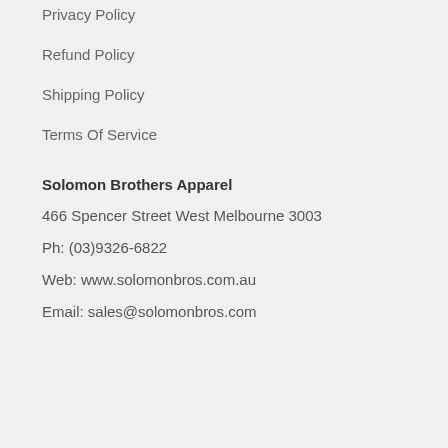Privacy Policy
Refund Policy
Shipping Policy
Terms Of Service
Solomon Brothers Apparel
466 Spencer Street West Melbourne 3003
Ph: (03)9326-6822
Web: www.solomonbros.com.au
Email: sales@solomonbros.com